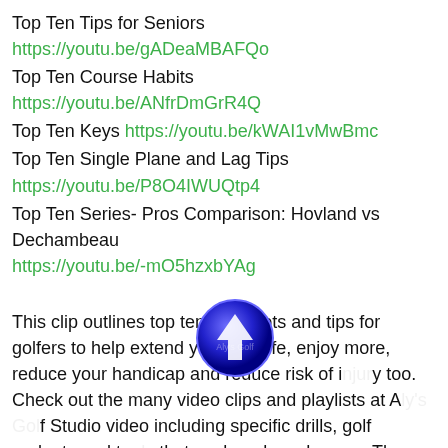Top Ten Tips for Seniors https://youtu.be/gADeaMBAFQo
Top Ten Course Habits https://youtu.be/ANfrDmGrR4Q
Top Ten Keys https://youtu.be/kWAI1vMwBmc
Top Ten Single Plane and Lag Tips https://youtu.be/P8O4IWUQtp4
Top Ten Series- Pros Comparison: Hovland vs Dechambeau https://youtu.be/-mO5hzxbYAg
This clip outlines top ten key shots and tips for golfers to help extend your golf life, enjoy more, reduce your handicap and reduce risk of injury too. Check out the many video clips and playlists at Aly's Golf Studio video including specific drills, golf gadgets and tools that work and much more. These will help you to improve your golf swing, become a more proficient golfer, enjoy the game more but also optimise your score. This clip focuses on the hybrid technique and position; chipping techniques with two examples of aids to help; three putting